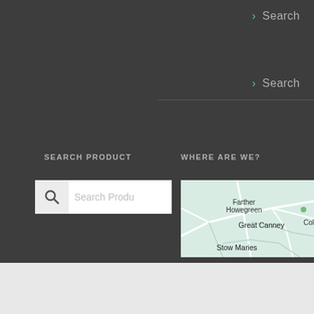> Search
> Search
SEARCH PRODUCT
WHERE ARE WE?
[Figure (screenshot): Search box with magnifying glass icon and placeholder text 'Search Produ']
[Figure (map): Map showing locations: Farther Howegreen, Great Canney, Cold Norton, Stow Maries]
Email Us
Call us